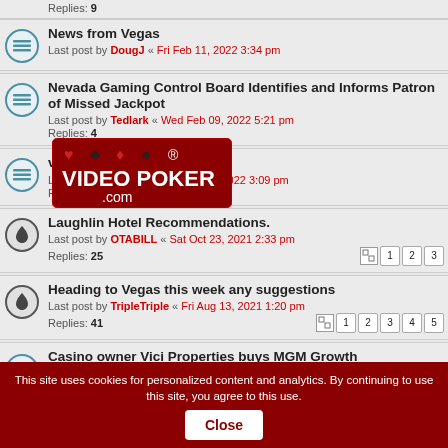Replies: 9
News from Vegas
Last post by DougJ « Fri Feb 11, 2022 3:34 pm
[Figure (logo): VideoPoker.com logo with card suit symbols]
Nevada Gaming Control Board Identifies and Informs Patron of Missed Jackpot
Last post by Tedlark « Wed Feb 09, 2022 5:21 pm
Replies: 4
vegas trip
Last post by Tedlark « Tue Jan 25, 2022 3:09 pm
Replies: 2
Laughlin Hotel Recommendations.
Last post by OTABILL « Sat Oct 23, 2021 2:33 pm
Replies: 25
Heading to Vegas this week any suggestions
Last post by TripleTriple « Fri Aug 13, 2021 1:20 pm
Replies: 41
Casino owner Vici Properties buys MGM Growth Properties
This site uses cookies for personalized content and analytics. By continuing to use this site, you agree to this use. Close